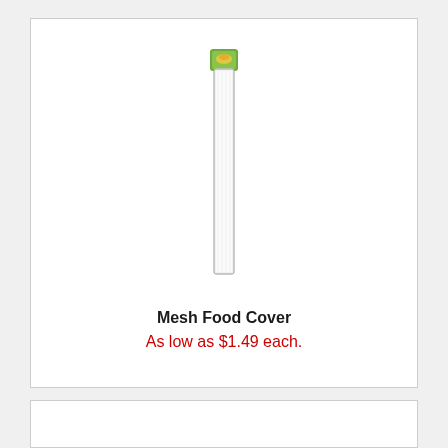[Figure (photo): A tall, narrow packaged mesh food cover standing upright in a clear plastic bag with a green header label at the top.]
Mesh Food Cover
As low as $1.49 each.